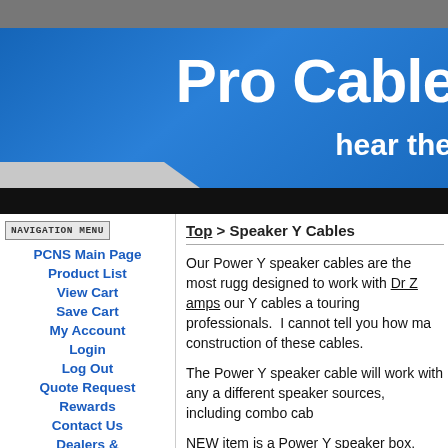[Figure (screenshot): Top gray bar of website]
[Figure (screenshot): Blue banner header with 'Pro Cable' and 'hear the' text]
NAVIGATION MENU
PCNS Main Page
Product List
View Cart
Save Cart
My Account
Login
Log Out
Quote Request
Rewards
Contact Us
Dealers & Inquiries
About Us
Top > Speaker Y Cables
Our Power Y speaker cables are the most rugg designed to work with Dr Z amps our Y cables a touring professionals.  I cannot tell you how ma construction of these cables.
The Power Y speaker cable will work with any a different speaker sources, including combo cab
NEW item is a Power Y speaker box, same des